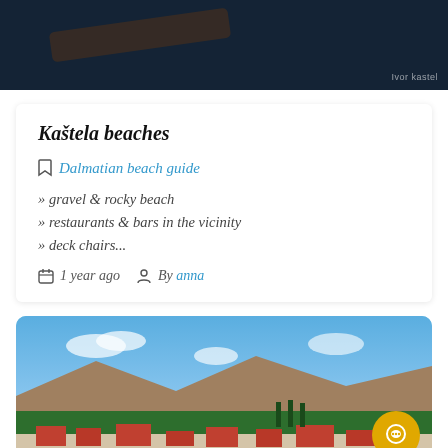[Figure (photo): Dark aerial/water photo with a wooden plank or dock visible, with a small watermark text in the bottom right corner]
Kaštela beaches
Dalmatian beach guide
» gravel & rocky beach
» restaurants & bars in the vicinity
» deck chairs...
1 year ago   By anna
[Figure (photo): Coastal town photo showing buildings, trees, mountains in the background under a blue sky with clouds. A golden chat button is visible in the bottom right corner.]